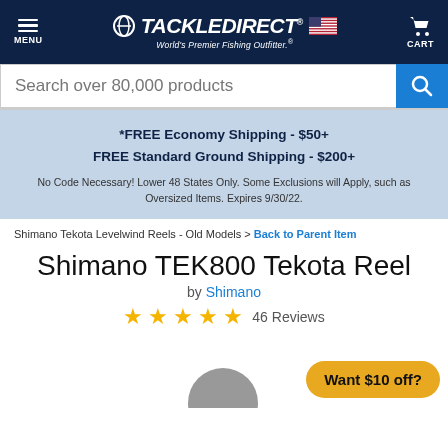TackleDirect - World's Premier Fishing Outfitter
Search over 80,000 products
*FREE Economy Shipping - $50+
FREE Standard Ground Shipping - $200+
No Code Necessary! Lower 48 States Only. Some Exclusions will Apply, such as Oversized Items. Expires 9/30/22.
Shimano Tekota Levelwind Reels - Old Models > Back to Parent Item
Shimano TEK800 Tekota Reel
by Shimano
46 Reviews
Want $10 off?